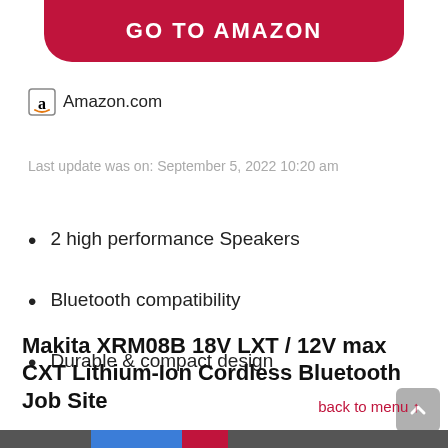[Figure (other): Red rounded button with white bold text reading GO TO AMAZON, partially cropped at top]
Amazon.com
Last update was on: September 5, 2022 10:20 am
2 high performance Speakers
Bluetooth compatibility
Durable & compact design
back to menu ↑
Makita XRM08B 18V LXT / 12V max CXT Lithium-Ion Cordless Bluetooth Job Site